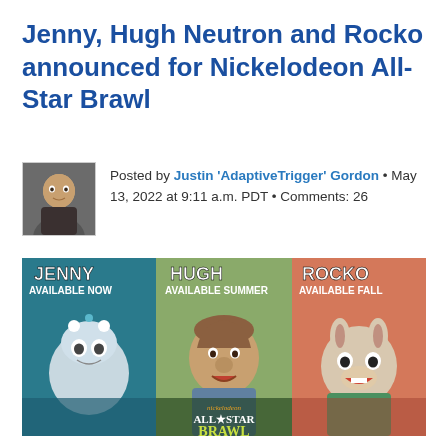Jenny, Hugh Neutron and Rocko announced for Nickelodeon All-Star Brawl
Posted by Justin 'AdaptiveTrigger' Gordon • May 13, 2022 at 9:11 a.m. PDT • Comments: 26
[Figure (illustration): Promotional image for Nickelodeon All-Star Brawl showing three characters: Jenny (Available Now), Hugh (Available Summer), and Rocko (Available Fall), with the game logo at the bottom.]